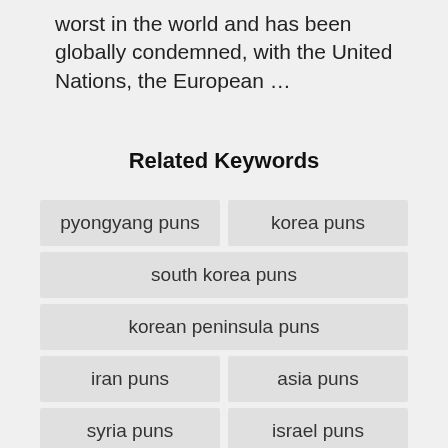worst in the world and has been globally condemned, with the United Nations, the European …
Related Keywords
pyongyang puns
korea puns
south korea puns
korean peninsula puns
iran puns
asia puns
syria puns
israel puns
egypt puns
russia puns
east asia puns
vietnam puns
china puns
india puns